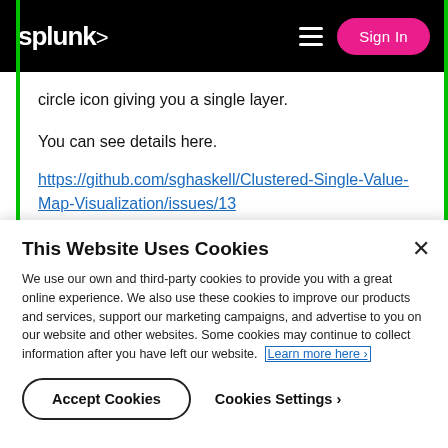splunk> Sign In
circle icon giving you a single layer.
You can see details here.
https://github.com/sghaskell/Clustered-Single-Value-Map-Visualization/issues/13
This Website Uses Cookies
We use our own and third-party cookies to provide you with a great online experience. We also use these cookies to improve our products and services, support our marketing campaigns, and advertise to you on our website and other websites. Some cookies may continue to collect information after you have left our website. Learn more here ›
Accept Cookies   Cookies Settings ›